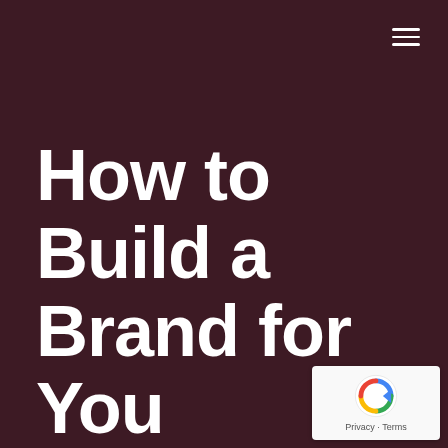[Figure (other): Hamburger menu icon (three horizontal white lines) in top-right corner on dark maroon background]
How to Build a Brand for You